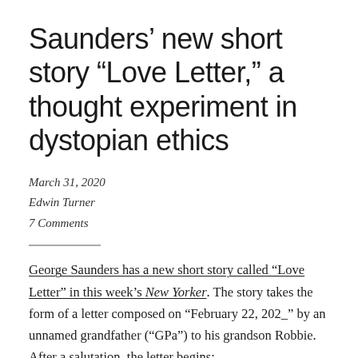Saunders' new short story “Love Letter,” a thought experiment in dystopian ethics
March 31, 2020
Edwin Turner
7 Comments
George Saunders has a new short story called “Love Letter” in this week’s New Yorker. The story takes the form of a letter composed on “February 22, 202_” by an unnamed grandfather (“GPa”) to his grandson Robbie. After a salutation, the letter begins: